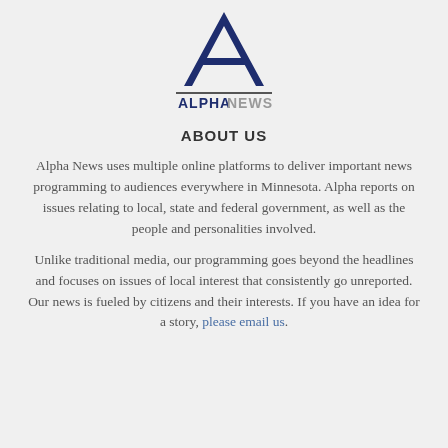[Figure (logo): Alpha News logo: large dark navy letter A above a horizontal line, with 'ALPHANEWS' text below where 'ALPHA' is dark navy bold and 'NEWS' is gray]
ABOUT US
Alpha News uses multiple online platforms to deliver important news programming to audiences everywhere in Minnesota. Alpha reports on issues relating to local, state and federal government, as well as the people and personalities involved.
Unlike traditional media, our programming goes beyond the headlines and focuses on issues of local interest that consistently go unreported. Our news is fueled by citizens and their interests. If you have an idea for a story, please email us.